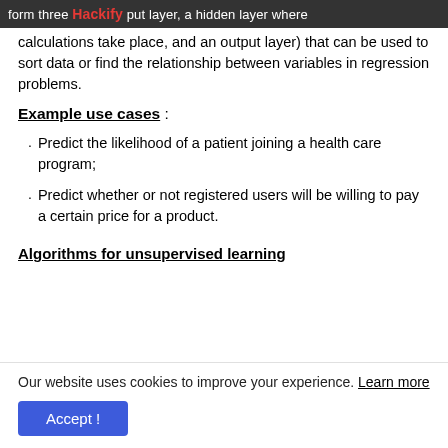form three layers (an input layer, a hidden layer where calculations take place, and an output layer) that can be used to sort data or find the relationship between variables in regression problems.
calculations take place, and an output layer) that can be used to sort data or find the relationship between variables in regression problems.
Example use cases :
Predict the likelihood of a patient joining a health care program;
Predict whether or not registered users will be willing to pay a certain price for a product.
Algorithms for unsupervised learning
Our website uses cookies to improve your experience. Learn more
Accept !